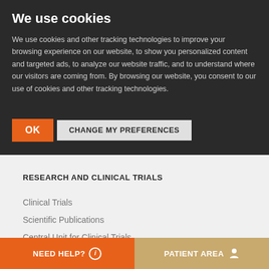We use cookies
We use cookies and other tracking technologies to improve your browsing experience on our website, to show you personalized content and targeted ads, to analyze our website traffic, and to understand where our visitors are coming from. By browsing our website, you consent to our use of cookies and other tracking technologies.
OK | CHANGE MY PREFERENCES
RESEARCH AND CLINICAL TRIALS
Clinical Trials
Scientific Publications
Central Unit for Clinical Trials
ABOUT US
NEED HELP? ℹ  |  PATIENT AREA 👤